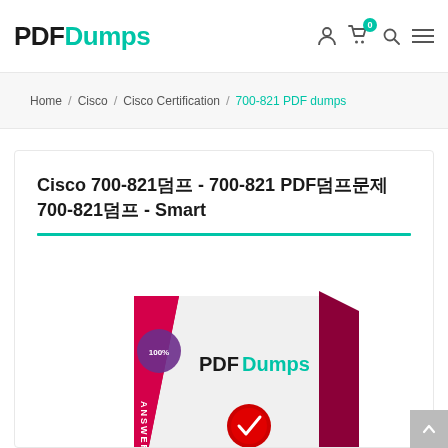PDFDumps
Home / Cisco / Cisco Certification / 700-821 PDF dumps
Cisco 700-821덤프 - 700-821 PDF덤프문제 700-821덤프 - Smart
[Figure (photo): PDFDumps product box image showing a red/pink exam dumps book with PDFDumps branding logo and certification seal]